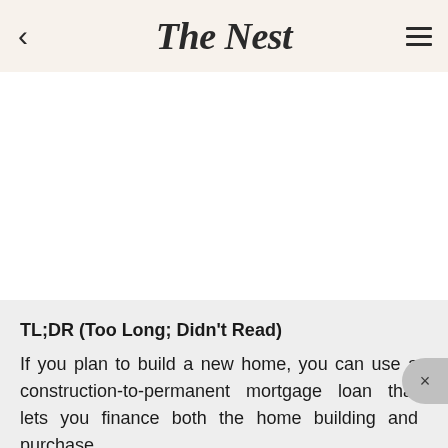The Nest
TL;DR (Too Long; Didn't Read)
If you plan to build a new home, you can use a construction-to-permanent mortgage loan that lets you finance both the home building and purchase.